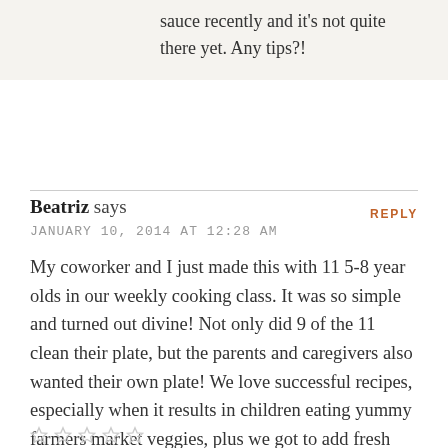sauce recently and it's not quite there yet. Any tips?!
Beatriz says
JANUARY 10, 2014 AT 12:28 AM
My coworker and I just made this with 11 5-8 year olds in our weekly cooking class. It was so simple and turned out divine! Not only did 9 of the 11 clean their plate, but the parents and caregivers also wanted their own plate! We love successful recipes, especially when it results in children eating yummy farmers market veggies, plus we got to add fresh thyme from our school garden :) Thank you!
REPLY